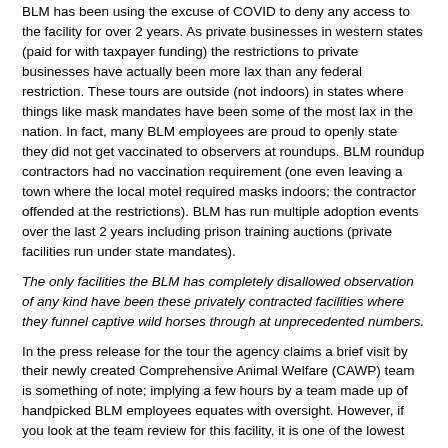BLM has been using the excuse of COVID to deny any access to the facility for over 2 years. As private businesses in western states (paid for with taxpayer funding) the restrictions to private businesses have actually been more lax than any federal restriction. These tours are outside (not indoors) in states where things like mask mandates have been some of the most lax in the nation. In fact, many BLM employees are proud to openly state they did not get vaccinated to observers at roundups. BLM roundup contractors had no vaccination requirement (one even leaving a town where the local motel required masks indoors; the contractor offended at the restrictions). BLM has run multiple adoption events over the last 2 years including prison training auctions (private facilities run under state mandates).
The only facilities the BLM has completely disallowed observation of any kind have been these privately contracted facilities where they funnel captive wild horses through at unprecedented numbers.
In the press release for the tour the agency claims a brief visit by their newly created Comprehensive Animal Welfare (CAWP) team is something of note; implying a few hours by a team made up of handpicked BLM employees equates with oversight. However, if you look at the team review for this facility, it is one of the lowest